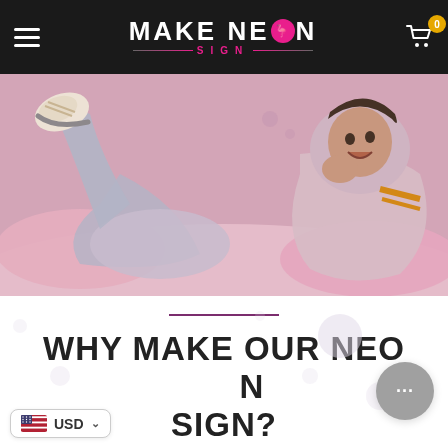MAKE NEON SIGN
[Figure (photo): Two young women having a pillow fight on a pink bed, one laughing and kicking up her feet wearing white sneakers, both wearing casual/hooded clothing against a pink background]
WHY MAKE OUR NEON SIGN?